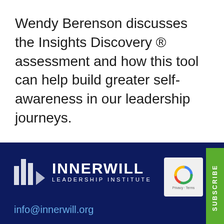Wendy Berenson discusses the Insights Discovery ® assessment and how this tool can help build greater self-awareness in our leadership journeys.
[Figure (logo): Innerwill Leadership Institute logo with vertical bars and arrow icon, white on dark navy background]
info@innerwill.org